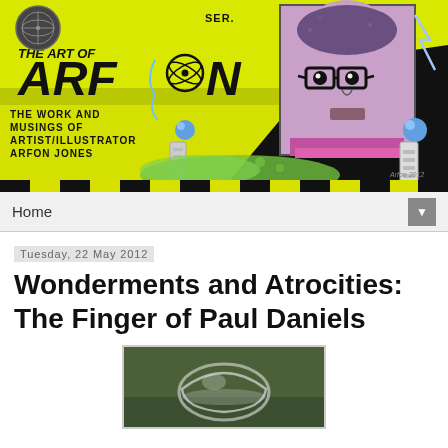[Figure (illustration): The Art of Arfon banner illustration: dark background with yellow diagonal stripe, comic-style text 'THE ART OF ARFON' with atom symbol, portrait of man with glasses, lightning bolts, green splashes, tesla coil elements. Text reads 'THE WORK AND MUSINGS OF ARTIST/ILLUSTRATOR ARFON JONES']
Home
Tuesday, 22 May 2012
Wonderments and Atrocities: The Finger of Paul Daniels
[Figure (photo): Close-up photograph of what appears to be a water droplet or bubble on a green surface, blurred background]